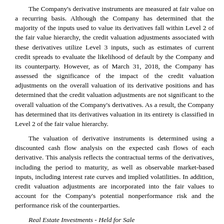The Company's derivative instruments are measured at fair value on a recurring basis. Although the Company has determined that the majority of the inputs used to value its derivatives fall within Level 2 of the fair value hierarchy, the credit valuation adjustments associated with these derivatives utilize Level 3 inputs, such as estimates of current credit spreads to evaluate the likelihood of default by the Company and its counterparty. However, as of March 31, 2018, the Company has assessed the significance of the impact of the credit valuation adjustments on the overall valuation of its derivative positions and has determined that the credit valuation adjustments are not significant to the overall valuation of the Company's derivatives. As a result, the Company has determined that its derivatives valuation in its entirety is classified in Level 2 of the fair value hierarchy.
The valuation of derivative instruments is determined using a discounted cash flow analysis on the expected cash flows of each derivative. This analysis reflects the contractual terms of the derivatives, including the period to maturity, as well as observable market-based inputs, including interest rate curves and implied volatilities. In addition, credit valuation adjustments are incorporated into the fair values to account for the Company's potential nonperformance risk and the performance risk of the counterparties.
Real Estate Investments - Held for Sale
The Company has impaired real estate investments held for sale, which are carried at fair value on a non-recurring basis on the consolidated balance sheets as of March 31, 2018 and December 31, 2017. Impaired real estate investments held for sale were valued using the sale price from the applicable PSA less costs to sell, which is an observable input. As a result, the Company's impaired real